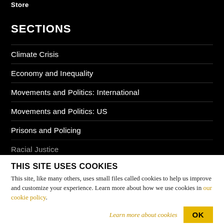Store
SECTIONS
Climate Crisis
Economy and Inequality
Movements and Politics: International
Movements and Politics: US
Prisons and Policing
Racial Justice
THIS SITE USES COOKIES
This site, like many others, uses small files called cookies to help us improve and customize your experience. Learn more about how we use cookies in our cookie policy.
Learn more about cookies    OK